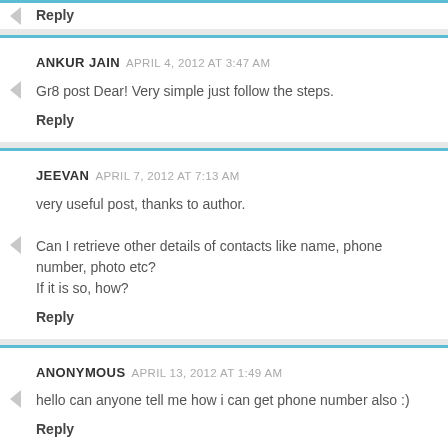Reply (partial, top of page)
ANKUR JAIN  APRIL 4, 2012 AT 3:47 AM
Gr8 post Dear! Very simple just follow the steps.
Reply
JEEVAN  APRIL 7, 2012 AT 7:13 AM
very useful post, thanks to author.

Can I retrieve other details of contacts like name, phone number, photo etc?
If it is so, how?
Reply
ANONYMOUS  APRIL 13, 2012 AT 1:49 AM
hello can anyone tell me how i can get phone number also :)
Reply